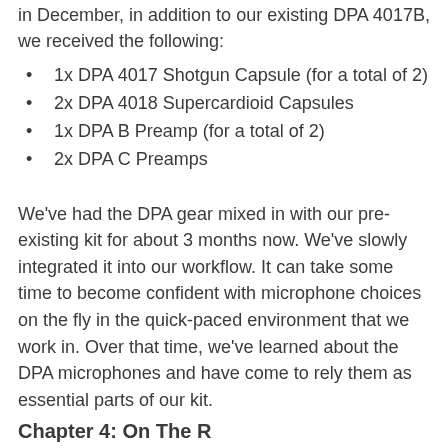in December, in addition to our existing DPA 4017B, we received the following:
1x DPA 4017 Shotgun Capsule (for a total of 2)
2x DPA 4018 Supercardioid Capsules
1x DPA B Preamp (for a total of 2)
2x DPA C Preamps
We've had the DPA gear mixed in with our pre-existing kit for about 3 months now. We've slowly integrated it into our workflow. It can take some time to become confident with microphone choices on the fly in the quick-paced environment that we work in. Over that time, we've learned about the DPA microphones and have come to rely them as essential parts of our kit.
Chapter 4: On The R...